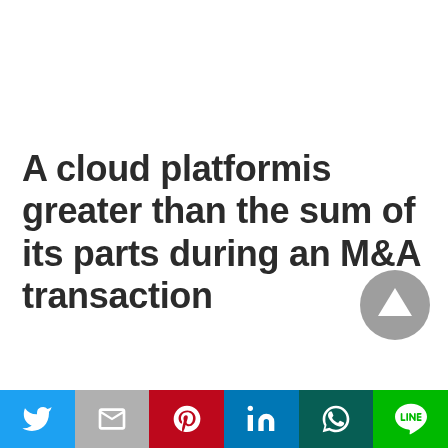A cloud platformis greater than the sum of its parts during an M&A transaction
[Figure (other): Gray circular scroll-to-top button with upward-pointing triangle arrow]
[Figure (other): Social sharing bar with six icons: Twitter (blue), Gmail (gray), Pinterest (red), LinkedIn (blue), WhatsApp (dark teal), LINE (green)]